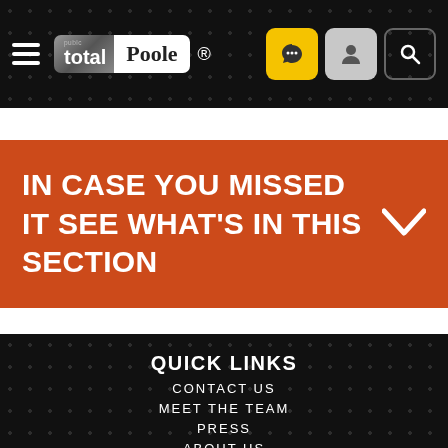total Poole ®
IN CASE YOU MISSED IT SEE WHAT'S IN THIS SECTION
QUICK LINKS
CONTACT US
MEET THE TEAM
PRESS
ABOUT US
BLOG FOR US